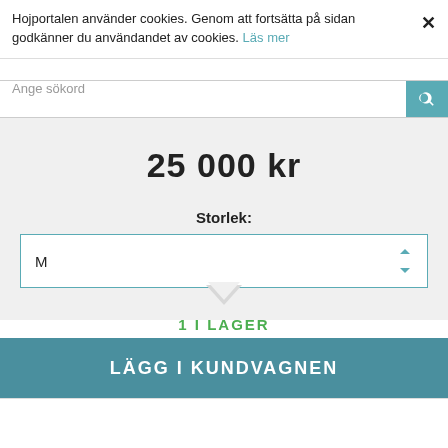Hojportalen använder cookies. Genom att fortsätta på sidan godkänner du användandet av cookies. Läs mer
Ange sökord
25 000 kr
Storlek:
M
1 I LAGER
1
LÄGG I KUNDVAGNEN